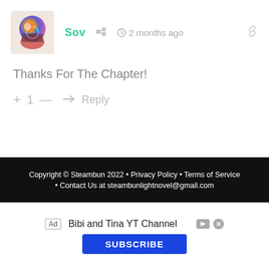[Figure (photo): User avatar thumbnail showing a stylized colorful helmet/character illustration]
Sov  🔗  🕐 2 months ago
Thanks For The Chapter!
+ 1 —  ➤ Reply
Copyright © Steambun 2022 • Privacy Policy • Terms of Service • Contact Us at steambunlightnovel@gmail.com
[Figure (screenshot): Ad banner: Bibi and Tina YT Channel with Subscribe button]